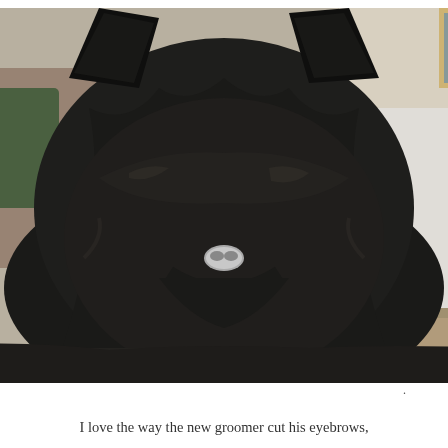[Figure (photo): Close-up photo of a dark-colored Scottish Terrier or similar wire-haired dog with prominent ears, shaggy dark fur covering its face and eyes, with a visible white/grey nose tip. The dog is looking toward the camera. Background shows a room interior with colorful cushions and a patterned rug.]
I love the way the new groomer cut his eyebrows,